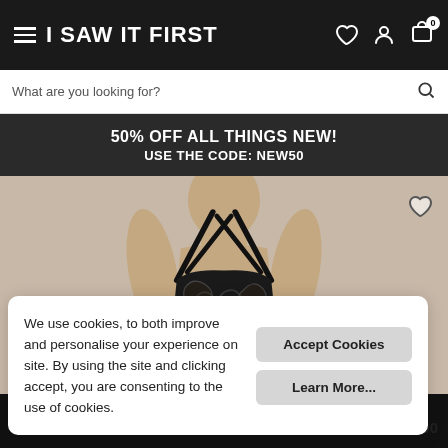I SAW IT FIRST
What are you looking for?
50% OFF ALL THINGS NEW!
USE THE CODE: NEW50
[Figure (photo): Woman wearing black lace lingerie bodysuit with spaghetti straps and V-neckline]
We use cookies, to both improve and personalise your experience on site. By using the site and clicking accept, you are consenting to the use of cookies.
Accept Cookies
Learn More...
31.00
COMING SOON – NOTIFY ME